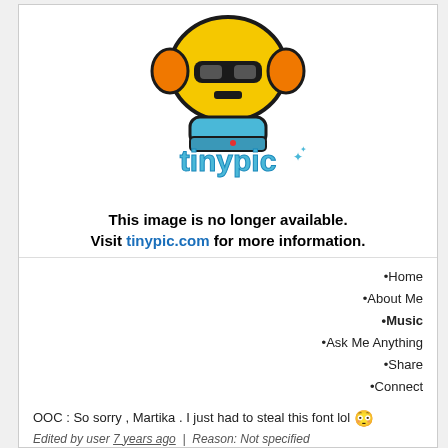[Figure (logo): Tinypic placeholder image showing a cartoon robot/character with yellow head and orange ears, and 'tinypic' logo text in blue. Message: This image is no longer available. Visit tinypic.com for more information.]
•Home
•About Me
•Music
•Ask Me Anything
•Share
•Connect
OOC : So sorry , Martika . I just had to steal this font lol 😳
Edited by user 7 years ago | Reason: Not specified
◦9LIVES◦Aikya Balan◦Allison Cooper◦Anniken Dahl-Smith◦Bonnie Summers◦Dakota◦Doe Ho Park◦DELIGHT◦Drew Westbrook◦Flame 1&2◦Giovanni Gigante◦Jake Baskett◦Jayne Moore◦Lotus◦◦LUXX◦MirMi◦Romeo Lefevre◦Rum & Coke◦Sahara Blue◦WINNIE◦Yasmine Kiambang◦Zane Anoshkin◦
❤ 5 users thanked kandii for this useful post.
erich hess on 31/12/2013(UTC), meheme101 on 31/12/2013(UTC), snap_itshannah on